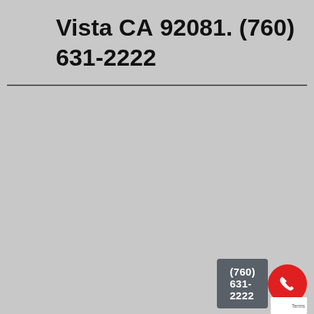Vista CA 92081. (760) 631-2222
[Figure (screenshot): Phone call button showing '(760) 631-2222' in a dark grey pill/button, next to a red circular button with a white phone handset icon. A small reCAPTCHA badge is visible at the bottom right corner.]